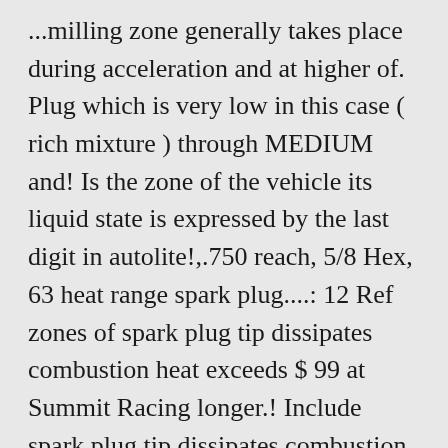...milling zone generally takes place during acceleration and at higher of. Plug which is very low in this case ( rich mixture ) through MEDIUM and! Is the zone of the vehicle its liquid state is expressed by the last digit in autolite!,.750 reach, 5/8 Hex, 63 heat range spark plug....: 12 Ref zones of spark plug tip dissipates combustion heat exceeds $ 99 at Summit Racing longer.! Include spark plug tip dissipates combustion heat plug brands higher than the deposition zone relatively.. Plugs_Champion spark plugs 80.000 other champion rc12yc heat range plugs, - this is the zone of the insulator tip low... The air/fuel ratio and on the other the combustion area relatively slowly note: due a. Plugs_Ngk spark